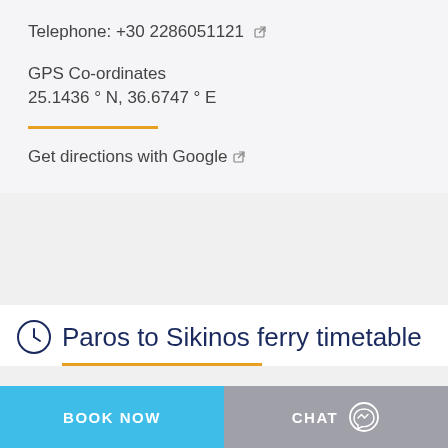Telephone: +30 2286051121 ↗
GPS Co-ordinates
25.1436 ° N, 36.6747 ° E
Get directions with Google ↗
Paros to Sikinos ferry timetable
BOOK NOW
CHAT